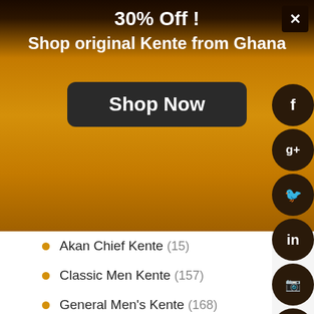[Figure (infographic): Promotional banner with golden/dark brown gradient background showing '30% Off!' and 'Shop original Kente from Ghana' text with a 'Shop Now' button]
Akan Chief Kente (15)
Classic Men Kente (157)
General Men's Kente (168)
Women' Kente Cloth (434)
Classic Women Kente (123)
Engagement Kente Cloth (66)
General Women's Kente Cloth (56)
Wedding Kente Cloth (189)